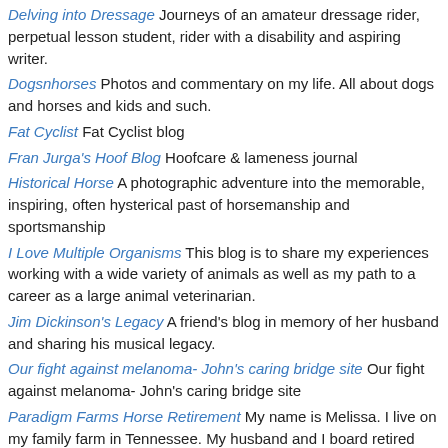Delving into Dressage Journeys of an amateur dressage rider, perpetual lesson student, rider with a disability and aspiring writer.
Dogsnhorses Photos and commentary on my life. All about dogs and horses and kids and such.
Fat Cyclist Fat Cyclist blog
Fran Jurga's Hoof Blog Hoofcare & lameness journal
Historical Horse A photographic adventure into the memorable, inspiring, often hysterical past of horsemanship and sportsmanship
I Love Multiple Organisms This blog is to share my experiences working with a wide variety of animals as well as my path to a career as a large animal veterinarian.
Jim Dickinson's Legacy A friend's blog in memory of her husband and sharing his musical legacy.
Our fight against melanoma- John's caring bridge site Our fight against melanoma- John's caring bridge site
Paradigm Farms Horse Retirement My name is Melissa. I live on my family farm in Tennessee. My husband and I board retired horses and raise natural beef. I am also training my two homebred Warmblood mares, Bonnie and Lexi, who both turned four in spring 2008.
Personal "Sweat Equity" Meanderings from an Independent Beachbody